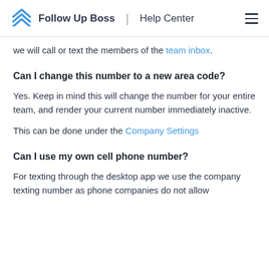Follow Up Boss | Help Center
we will call or text the members of the team inbox.
Can I change this number to a new area code?
Yes. Keep in mind this will change the number for your entire team, and render your current number immediately inactive.
This can be done under the Company Settings
Can I use my own cell phone number?
For texting through the desktop app we use the company texting number as phone companies do not allow